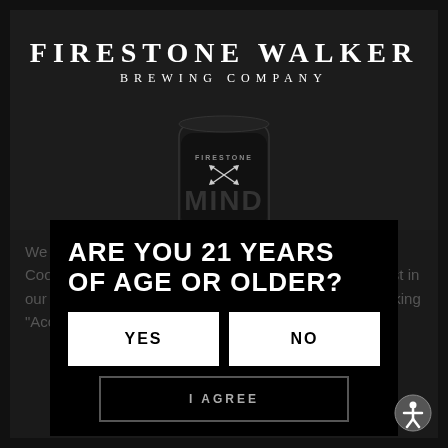[Figure (logo): Firestone Walker Brewing Company logo — white serif text on dark background]
[Figure (photo): Firestone Walker beer can (dark label, 'FIRESTONE' and 'MIND' visible) on dark background]
We use cookies to improve your browsing experience. Cookies store information, analyze site usage, and assist in our marketing efforts. By continuing to browse or by clicking "Accept Cookies" you agr...
ARE YOU 21 YEARS OF AGE OR OLDER?
YES
NO
I AGREE